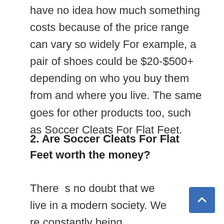have no idea how much something costs because of the price range can vary so widely For example, a pair of shoes could be $20-$500+ depending on who you buy them from and where you live. The same goes for other products too, such as Soccer Cleats For Flat Feet.
2. Are Soccer Cleats For Flat Feet worth the money?
There  s no doubt that we live in a modern society. We  re constantly being